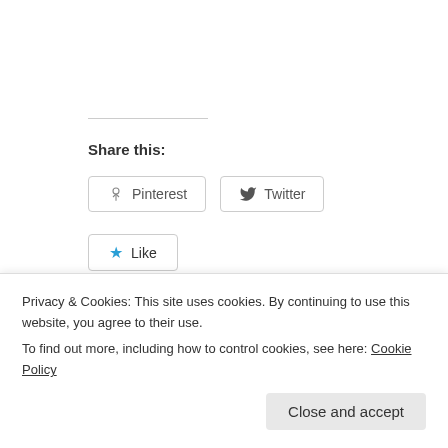Share this:
Pinterest  Twitter
Like  Be the first to like this.
Related
STYLE FASHION WEEK LA October 17th-22nd
October 4, 2011
STYLE FASHI...
March 9, 2013
Privacy & Cookies: This site uses cookies. By continuing to use this website, you agree to their use.
To find out more, including how to control cookies, see here: Cookie Policy
Close and accept